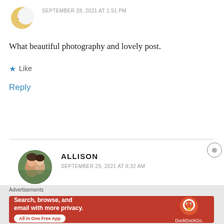[Figure (illustration): Crescent moon avatar icon in gold/yellow color]
SEPTEMBER 28, 2021 AT 1:51 PM
What beautiful photography and lovely post.
★ Like
Reply
[Figure (photo): Circular avatar photo of a couple smiling outdoors]
ALLISON
SEPTEMBER 29, 2021 AT 8:32 AM
Advertisements
[Figure (screenshot): DuckDuckGo advertisement banner: Search, browse, and email with more privacy. All in One Free App. Shows app icon on phone mockup.]